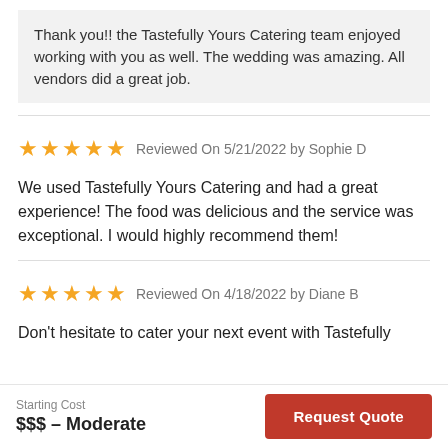Thank you!! the Tastefully Yours Catering team enjoyed working with you as well. The wedding was amazing. All vendors did a great job.
Reviewed On 5/21/2022 by Sophie D
We used Tastefully Yours Catering and had a great experience! The food was delicious and the service was exceptional. I would highly recommend them!
Reviewed On 4/18/2022 by Diane B
Don't hesitate to cater your next event with Tastefully
Starting Cost
$$$ – Moderate